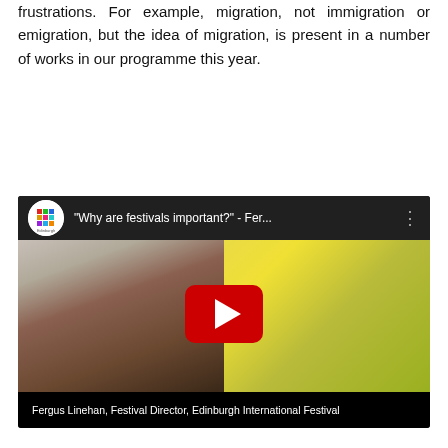frustrations. For example, migration, not immigration or emigration, but the idea of migration, is present in a number of works in our programme this year.
[Figure (screenshot): YouTube video thumbnail/player showing a man in a black t-shirt against a yellow background. The video title reads '"Why are festivals important?" - Fer...' with the Edinburgh Festival City logo. A red YouTube play button is centered. Caption at bottom reads 'Fergus Linehan, Festival Director, Edinburgh International Festival'.]